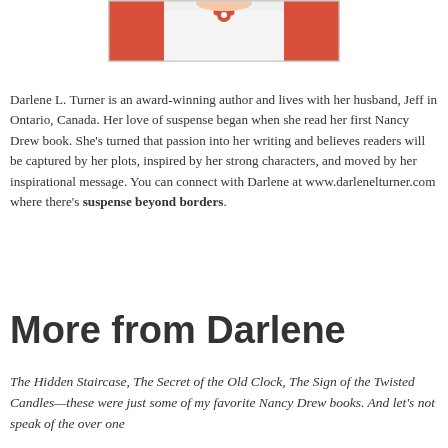[Figure (photo): Partial photo of Darlene L. Turner, showing torso and necklace with red cardigan]
Darlene L. Turner is an award-winning author and lives with her husband, Jeff in Ontario, Canada. Her love of suspense began when she read her first Nancy Drew book. She's turned that passion into her writing and believes readers will be captured by her plots, inspired by her strong characters, and moved by her inspirational message. You can connect with Darlene at www.darlenelturner.com where there's suspense beyond borders.
More from Darlene
The Hidden Staircase, The Secret of the Old Clock, The Sign of the Twisted Candles—these were just some of my favorite Nancy Drew books. And let's not speak of the over one